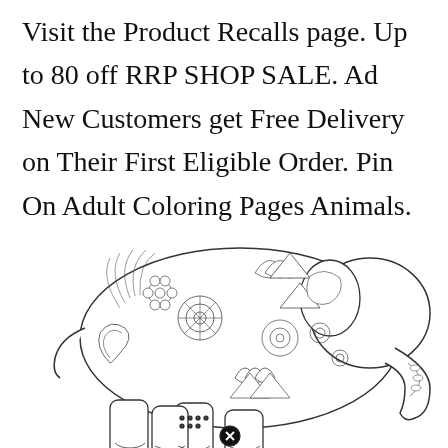Visit the Product Recalls page. Up to 80 off RRP SHOP SALE. Ad New Customers get Free Delivery on Their First Eligible Order. Pin On Adult Coloring Pages Animals.
[Figure (illustration): A detailed mandala/zentangle style adult coloring page illustration of an elephant filled with intricate floral and geometric patterns. The elephant faces right with its trunk curled downward. A small circular icon with an X appears near the bottom center.]